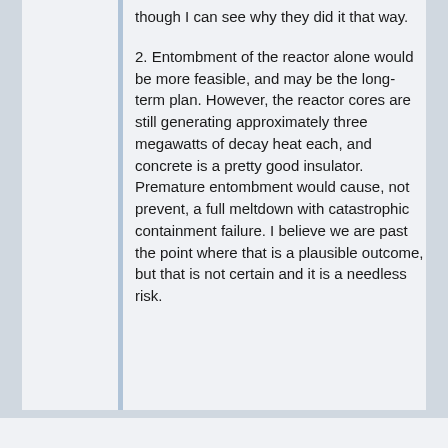though I can see why they did it that way.
2. Entombment of the reactor alone would be more feasible, and may be the long-term plan. However, the reactor cores are still generating approximately three megawatts of decay heat each, and concrete is a pretty good insulator. Premature entombment would cause, not prevent, a full meltdown with catastrophic containment failure. I believe we are past the point where that is a plausible outcome, but that is not certain and it is a needless risk.